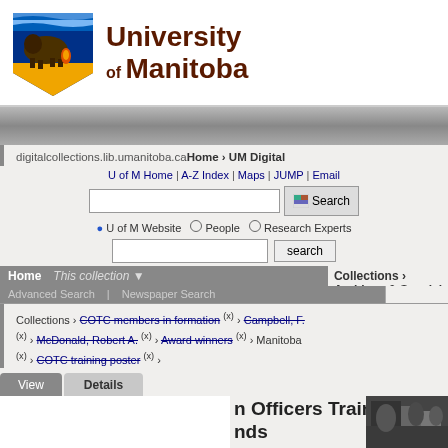[Figure (logo): University of Manitoba logo with bison and shield on blue/gold background]
University of Manitoba
digitalcollections.lib.umanitoba.ca Home › UM Digital
U of M Home | A-Z Index | Maps | JUMP | Email
U of M Website   People   Research Experts
search
Home   This collection ▼   Collections ›  Archives & Special
Advanced Search   Newspaper Search
Collections › COTC members in formation (x) › Campbell, F. (x) › McDonald, Robert A. (x) › Award winners (x) › Manitoba (x) › COTC training poster (x) ›
View   Details
n Officers Training
nds